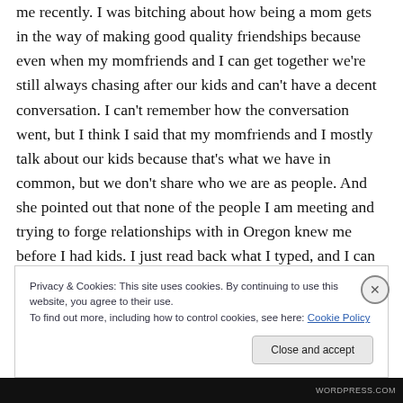me recently.  I was bitching about how being a mom gets in the way of making good quality friendships because even when my momfriends and I can get together we're still always chasing after our kids and can't have a decent conversation.  I can't remember how the conversation went, but I think I said that my momfriends and I mostly talk about our kids because that's what we have in common, but we don't share who we are as people.  And she pointed out that none of the people I am meeting and trying to forge relationships with in Oregon knew me before I had kids.  I just read back what I typed, and I can
Privacy & Cookies: This site uses cookies. By continuing to use this website, you agree to their use.
To find out more, including how to control cookies, see here: Cookie Policy
Close and accept
WORDPRESS.COM